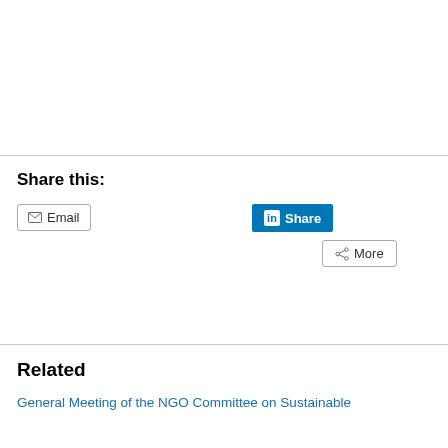Share this:
[Figure (screenshot): Social sharing buttons: Email button with envelope icon, LinkedIn Share button (blue), and More button with share icon]
Related
General Meeting of the NGO Committee on Sustainable